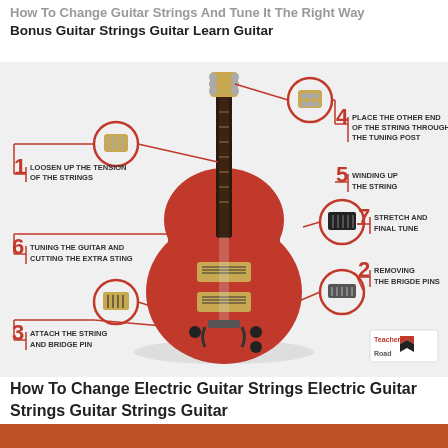How To Change Guitar Strings And Tune It The Right Way Bonus Guitar Strings Guitar Learn Guitar
[Figure (infographic): Infographic showing 7 steps to change electric guitar strings, with a red electric guitar in the center. Numbered steps (1-7) with red callout lines pointing to different parts of the guitar. Step 1: Loosen up the tension of the strings (headstock area). Step 2: Removing the bridge pins (bridge area). Step 3: Attach the string and bridge pin (lower body). Step 4: Place the other end of the string through the tuning post (tuning peg). Step 5: Winding up the string (tuning peg area). Step 6: Tuning the guitar and cutting the extra sting (neck/body). Step 7: Stretch and final tune (body). Logo bottom-right corner.]
How To Change Electric Guitar Strings Electric Guitar Strings Guitar Strings Guitar